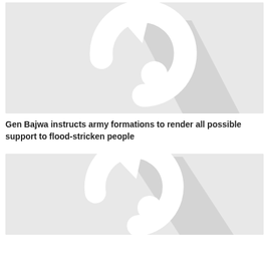[Figure (illustration): Placeholder image with a stylized arrow/reload icon in gray and white on a light gray background]
Gen Bajwa instructs army formations to render all possible support to flood-stricken people
[Figure (illustration): Second placeholder image with a similar stylized arrow/reload icon in gray and white on a light gray background]